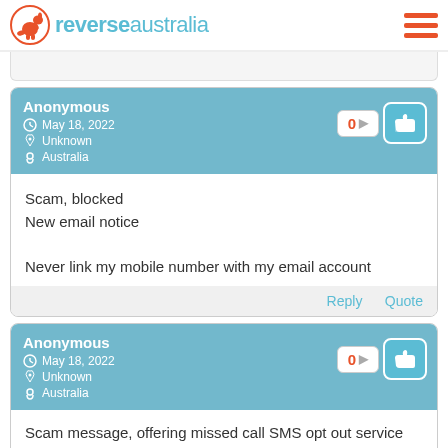reverseaustralia
Anonymous
May 18, 2022
Unknown
Australia
Scam, blocked
New email notice

Never link my mobile number with my email account
Reply  Quote
Anonymous
May 18, 2022
Unknown
Australia
Scam message, offering missed call SMS opt out service